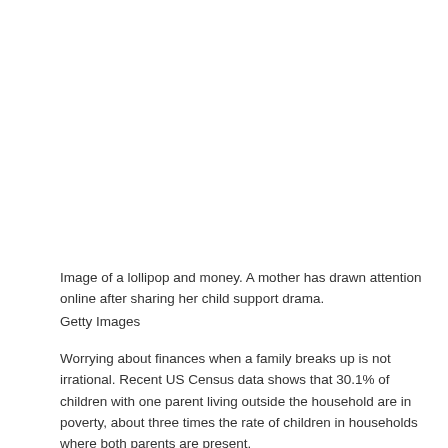[Figure (photo): Image area — blank white space representing a photo of a lollipop and money]
Image of a lollipop and money. A mother has drawn attention online after sharing her child support drama.
Getty Images
Worrying about finances when a family breaks up is not irrational. Recent US Census data shows that 30.1% of children with one parent living outside the household are in poverty, about three times the rate of children in households where both parents are present.